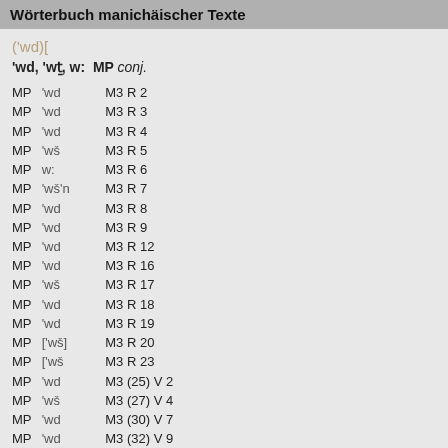Wörterbuch manichäischer Texte
('wd)[
'wd, 'wṯ, w:  MP conj.
MP 'wd   M3 R 2
MP 'wd   M3 R 3
MP 'wd   M3 R 4
MP 'wš   M3 R 5
MP w:   M3 R 6
MP 'wš'n   M3 R 7
MP 'wd   M3 R 8
MP 'wd   M3 R 9
MP 'wd   M3 R 12
MP 'wd   M3 R 16
MP 'wš   M3 R 17
MP 'wd   M3 R 18
MP 'wd   M3 R 19
MP ['wš]   M3 R 20
MP ['wš   M3 R 23
MP 'wd   M3 (25) V 2
MP 'wš   M3 (27) V 4
MP 'wd   M3 (30) V 7
MP 'wd   M3 (32) V 9
MP 'wd   M3 (33) V 10
MP 'wš   M3 (34) V 11
MP 'wd   M3 (38) V 15
MP 'wd   M3 (38) V 15
MP w:   M3 (39) V 16
MP 'w[d]   M3 (40) V 17
MP w:   M3 (42) V 19
MP 'wd   M3 (44) V 21